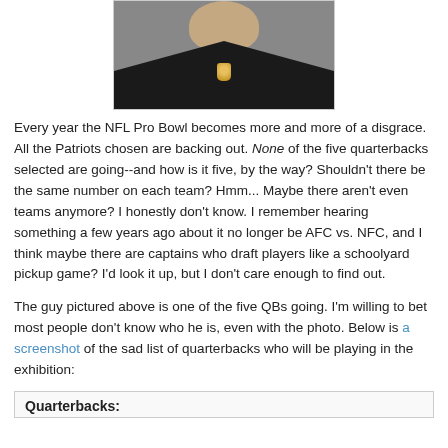[Figure (photo): NFL player headshot — man in black jersey with NFL shield logo, white background, partial view cropped at top]
Every year the NFL Pro Bowl becomes more and more of a disgrace.  All the Patriots chosen are backing out.  None of the five quarterbacks selected are going--and how is it five, by the way?  Shouldn't there be the same number on each team?  Hmm... Maybe there aren't even teams anymore?  I honestly don't know.  I remember hearing something a few years ago about it no longer be AFC vs. NFC, and I think maybe there are captains who draft players like a schoolyard pickup game?  I'd look it up, but I don't care enough to find out.
The guy pictured above is one of the five QBs going.  I'm willing to bet most people don't know who he is, even with the photo.  Below is a screenshot of the sad list of quarterbacks who will be playing in the exhibition:
Quarterbacks: